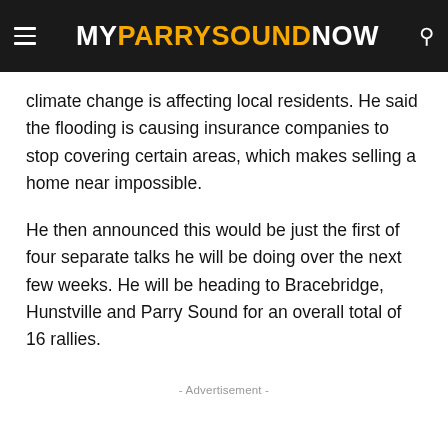MY PARRY SOUND NOW
climate change is affecting local residents. He said the flooding is causing insurance companies to stop covering certain areas, which makes selling a home near impossible.
He then announced this would be just the first of four separate talks he will be doing over the next few weeks. He will be heading to Bracebridge, Hunstville and Parry Sound for an overall total of 16 rallies.
- Advertisement -